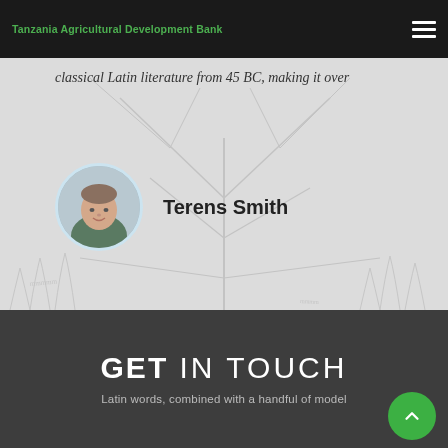Tanzania Agricultural Development Bank
classical Latin literature from 45 BC, making it over
Terens Smith
GET IN TOUCH
Latin words, combined with a handful of model